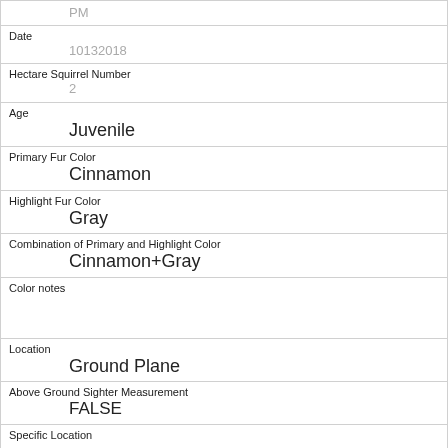| PM |
| Date | 10132018 |
| Hectare Squirrel Number | 2 |
| Age | Juvenile |
| Primary Fur Color | Cinnamon |
| Highlight Fur Color | Gray |
| Combination of Primary and Highlight Color | Cinnamon+Gray |
| Color notes |  |
| Location | Ground Plane |
| Above Ground Sighter Measurement | FALSE |
| Specific Location |  |